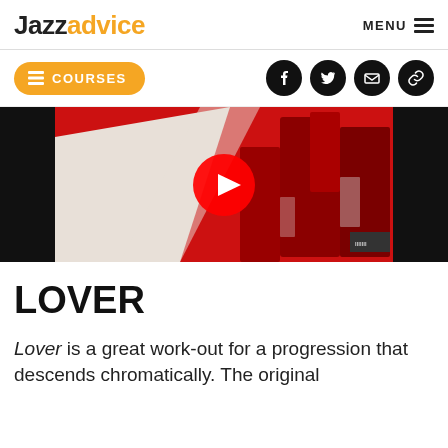Jazzadvice | MENU
COURSES (button) | Social icons: Facebook, Twitter, Email, Link
[Figure (screenshot): YouTube video thumbnail showing a red and white jazz album artwork with a play button overlay]
LOVER
Lover is a great work-out for a progression that descends chromatically. The original